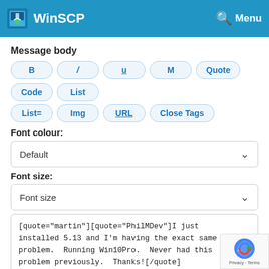WinSCP  Menu
Message body
B / U M Quote Code List List= Img URL Close Tags
Font colour:
Default
Font size:
Font size
[quote="martin"][quote="PhilMDev"]I just installed 5.13 and I'm having the exact same problem.  Running Win10Pro.  Never had this problem previously.  Thanks![/quote]